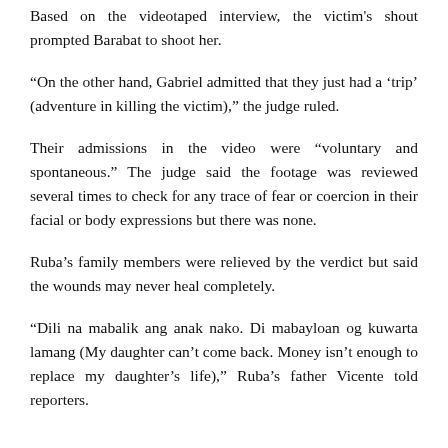Based on the videotaped interview, the victim's shout prompted Barabat to shoot her.
“On the other hand, Gabriel admitted that they just had a ‘trip’ (adventure in killing the victim),” the judge ruled.
Their admissions in the video were “voluntary and spontaneous.” The judge said the footage was reviewed several times to check for any trace of fear or coercion in their facial or body expressions but there was none.
Ruba’s family members were relieved by the verdict but said the wounds may never heal completely.
“Dili na mabalik ang anak nako. Di mabayloan og kuwarta lamang (My daughter can’t come back. Money isn’t enough to replace my daughter’s life),” Ruba’s father Vicente told reporters.